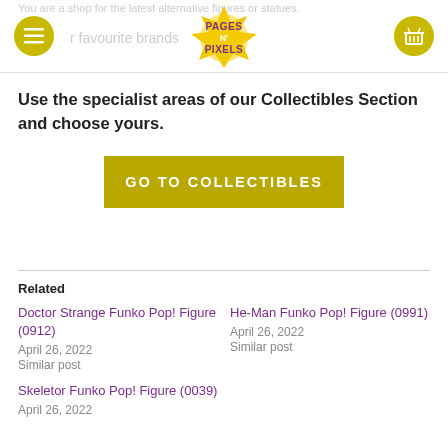Pages N Pixels — Your favourite brands logo area with menu and cart
Use the specialist areas of our Collectibles Section and choose yours.
GO TO COLLECTIBLES
Related
Doctor Strange Funko Pop! Figure (0912)
April 26, 2022
Similar post
He-Man Funko Pop! Figure (0991)
April 26, 2022
Similar post
Skeletor Funko Pop! Figure (0039)
April 26, 2022